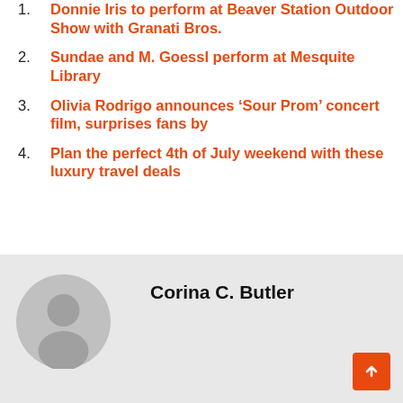Donnie Iris to perform at Beaver Station Outdoor Show with Granati Bros.
Sundae and M. Goessl perform at Mesquite Library
Olivia Rodrigo announces ‘Sour Prom’ concert film, surprises fans by
Plan the perfect 4th of July weekend with these luxury travel deals
Corina C. Butler